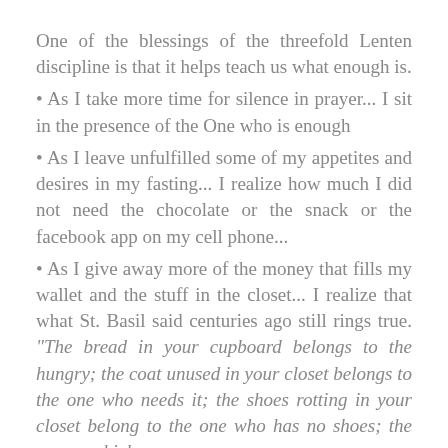One of the blessings of the threefold Lenten discipline is that it helps teach us what enough is.
• As I take more time for silence in prayer... I sit in the presence of the One who is enough
• As I leave unfulfilled some of my appetites and desires in my fasting... I realize how much I did not need the chocolate or the snack or the facebook app on my cell phone...
• As I give away more of the money that fills my wallet and the stuff in the closet... I realize that what St. Basil said centuries ago still rings true. “The bread in your cupboard belongs to the hungry; the coat unused in your closet belongs to the one who needs it; the shoes rotting in your closet belong to the one who has no shoes; the money which you